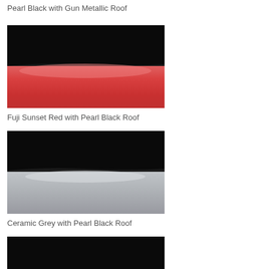Pearl Black with Gun Metallic Roof
[Figure (illustration): Car color swatch showing Pearl Black top section and Fuji Sunset Red bottom section]
Fuji Sunset Red with Pearl Black Roof
[Figure (illustration): Car color swatch showing Pearl Black top section and Ceramic Grey bottom section]
Ceramic Grey with Pearl Black Roof
[Figure (illustration): Car color swatch showing Pearl Black top section (partially visible)]